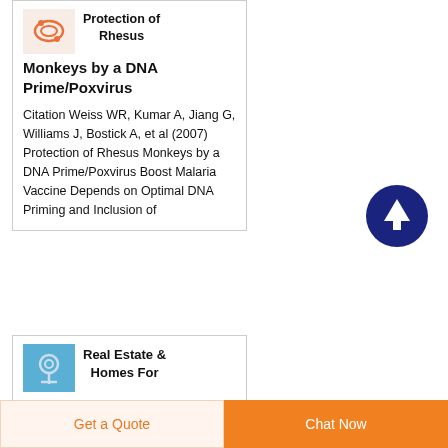Protection of Rhesus Monkeys by a DNA Prime/Poxvirus
Citation Weiss WR, Kumar A, Jiang G, Williams J, Bostick A, et al (2007) Protection of Rhesus Monkeys by a DNA Prime/Poxvirus Boost Malaria Vaccine Depends on Optimal DNA Priming and Inclusion of
Real Estate & Homes For Sale1,793 Homes For
Get a Quote
Chat Now